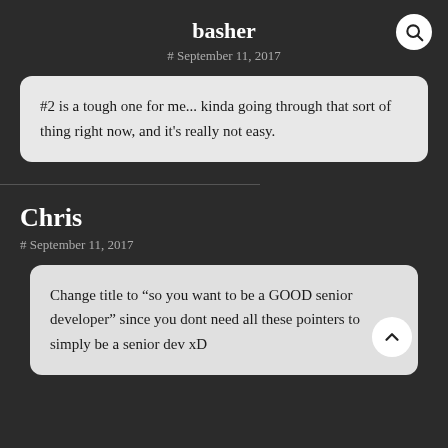basher
# September 11, 2017
#2 is a tough one for me... kinda going through that sort of thing right now, and it's really not easy.
Chris
# September 11, 2017
Change title to “so you want to be a GOOD senior developer” since you dont need all these pointers to simply be a senior dev xD